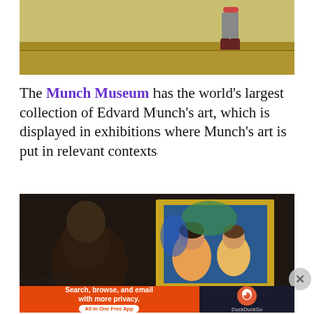[Figure (photo): Interior of a museum gallery with yellow-green walls and wooden floor; a person walks through the space]
The Munch Museum has the world’s largest collection of Edvard Munch’s art, which is displayed in exhibitions where Munch’s art is put in relevant contexts
[Figure (photo): Inside a museum gallery, a dark room with a painting in a gold frame visible; a person stands in front of it]
Advertisements
[Figure (other): DuckDuckGo advertisement banner: Search, browse, and email with more privacy. All in One Free App]